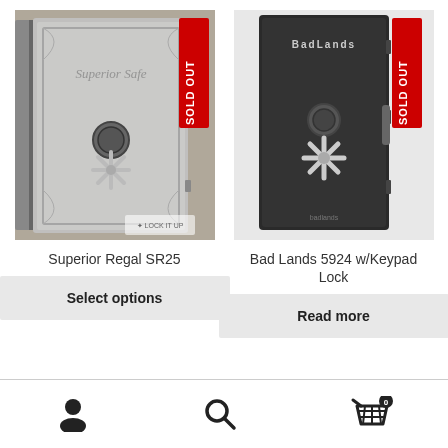[Figure (photo): Gray Superior Safe gun safe with combination lock and star-handle, 'SOLD OUT' red badge overlaid top right, Lock It Up watermark bottom right]
[Figure (photo): Black Bad Lands gun safe with combination lock and star-handle, 'SOLD OUT' red badge overlaid top right]
Superior Regal SR25
Bad Lands 5924 w/Keypad Lock
Select options
Read more
Footer navigation bar with user account icon, search icon, and cart icon with badge '0'